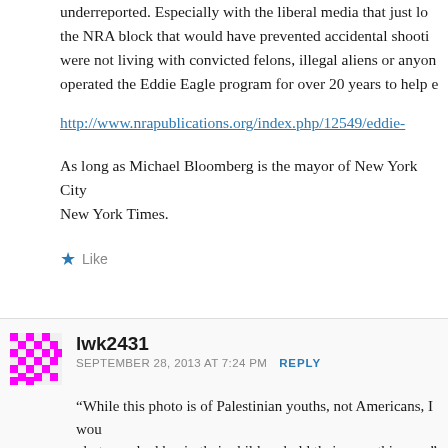underreported. Especially with the liberal media that just lo the NRA block that would have prevented accidental shooti were not living with convicted felons, illegal aliens or anyon operated the Eddie Eagle program for over 20 years to help e
http://www.nrapublications.org/index.php/12549/eddie-
As long as Michael Bloomberg is the mayor of New York City New York Times.
Like
lwk2431
SEPTEMBER 28, 2013 AT 7:24 PM   REPLY
“While this photo is of Palestinian youths, not Americans, I wou photographed havin their children hold their guns this way.”
The picture I found a lot more disturbing was young Palestinia